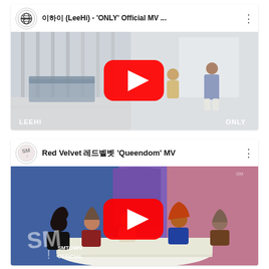[Figure (screenshot): YouTube video card for LeeHi 'ONLY' Official MV. Shows AOMG channel logo, video title '이하이 (LeeHi) - ONLY Official MV ...', YouTube play button overlay on thumbnail showing two people in a bright modern hallway, with LEEHI and ONLY text overlaid on thumbnail.]
[Figure (screenshot): YouTube video card for Red Velvet '퀸덤' 'Queendom' MV. Shows SM Entertainment channel logo, video title 'Red Velvet 레드벨벳 Queendom MV', YouTube play button overlay on thumbnail showing five women sitting at a table in colorful setting, with SMTOWN OFFICIAL branding at bottom left.]